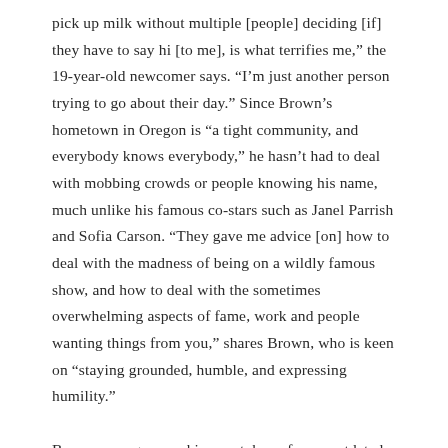pick up milk without multiple [people] deciding [if] they have to say hi [to me], is what terrifies me,” the 19-year-old newcomer says. “I’m just another person trying to go about their day.” Since Brown’s hometown in Oregon is “a tight community, and everybody knows everybody,” he hasn’t had to deal with mobbing crowds or people knowing his name, much unlike his famous co-stars such as Janel Parrish and Sofia Carson. “They gave me advice [on] how to deal with the madness of being on a wildly famous show, and how to deal with the sometimes overwhelming aspects of fame, work and people wanting things from you,” shares Brown, who is keen on “staying grounded, humble, and expressing humility.”

Brown even gave up his smartphone for an outdated flip phone “to stay away from the madness of social media” as his Instagram and